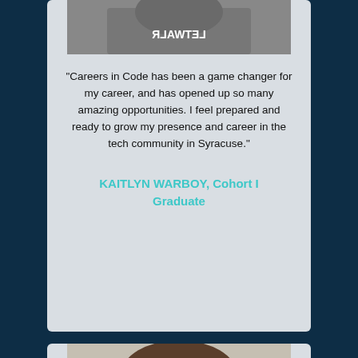[Figure (photo): Partial photo of Kaitlyn Warboy from the neck down wearing a grey hoodie with lettering, cropped at top]
"Careers in Code has been a game changer for my career, and has opened up so many amazing opportunities. I feel prepared and ready to grow my presence and career in the tech community in Syracuse."
KAITLYN WARBOY, Cohort I Graduate
[Figure (photo): Top portion of a man's head with short brown hair, cropped photo showing forehead and top of head]